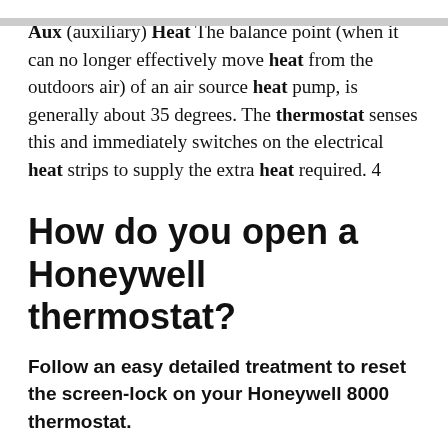Aux (auxiliary) Heat The balance point (when it can no longer effectively move heat from the outdoors air) of an air source heat pump, is generally about 35 degrees. The thermostat senses this and immediately switches on the electrical heat strips to supply the extra heat required. 4
How do you open a Honeywell thermostat?
Follow an easy detailed treatment to reset the screen-lock on your Honeywell 8000 thermostat.